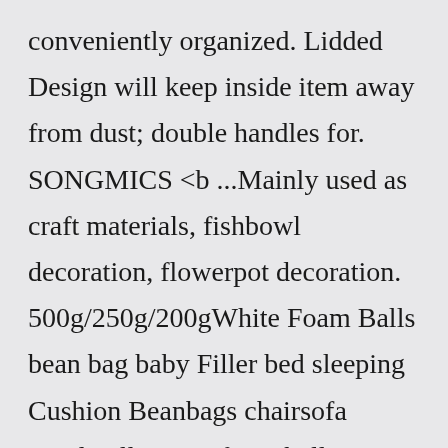conveniently organized. Lidded Design will keep inside item away from dust; double handles for. SONGMICS <b ...Mainly used as craft materials, fishbowl decoration, flowerpot decoration. 500g/250g/200gWhite Foam Balls bean bag baby Filler bed sleeping Cushion Beanbags chairsofa BeadsFiller styrofoam ball. Fun for everyone: Not only ideal gift for kids,exercise the kids' coordination ability